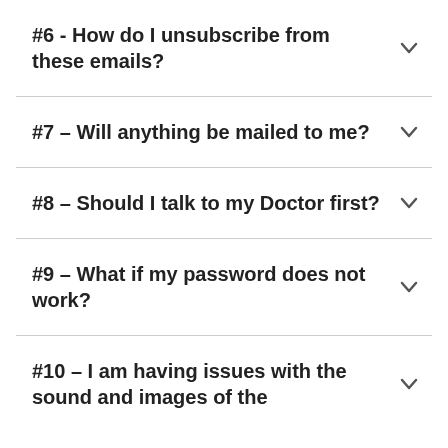#6 - How do I unsubscribe from these emails?
#7 – Will anything be mailed to me?
#8 – Should I talk to my Doctor first?
#9 – What if my password does not work?
#10 – I am having issues with the sound and images of the